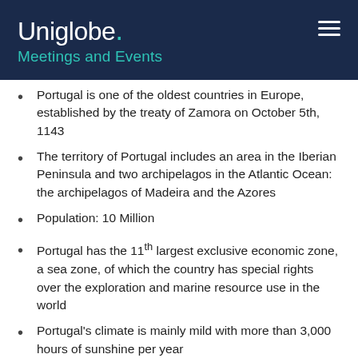Uniglobe. Meetings and Events
Portugal is one of the oldest countries in Europe, established by the treaty of Zamora on October 5th, 1143
The territory of Portugal includes an area in the Iberian Peninsula and two archipelagos in the Atlantic Ocean: the archipelagos of Madeira and the Azores
Population: 10 Million
Portugal has the 11th largest exclusive economic zone, a sea zone, of which the country has special rights over the exploration and marine resource use in the world
Portugal's climate is mainly mild with more than 3,000 hours of sunshine per year
Portugal has considerable resources of wind and river power, the two most cost-effective renewable energy